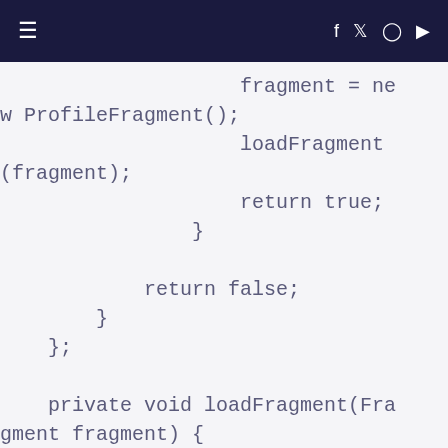≡  f  🐦  📷  ▶
fragment = ne
w ProfileFragment();
                    loadFragment
(fragment);
                    return true;
                }

            return false;
        }
    };

    private void loadFragment(Fra
gment fragment) {
        // load fragment